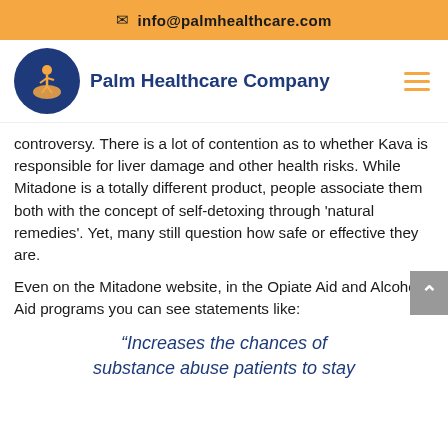✉ info@palmhealthcare.com
[Figure (logo): Palm Healthcare Company logo — blue circle with orange person/palm figure, company name in dark blue bold text, orange hamburger menu icon on the right]
controversy. There is a lot of contention as to whether Kava is responsible for liver damage and other health risks. While Mitadone is a totally different product, people associate them both with the concept of self-detoxing through 'natural remedies'. Yet, many still question how safe or effective they are.
Even on the Mitadone website, in the Opiate Aid and Alcohol Aid programs you can see statements like:
“Increases the chances of substance abuse patients to stay